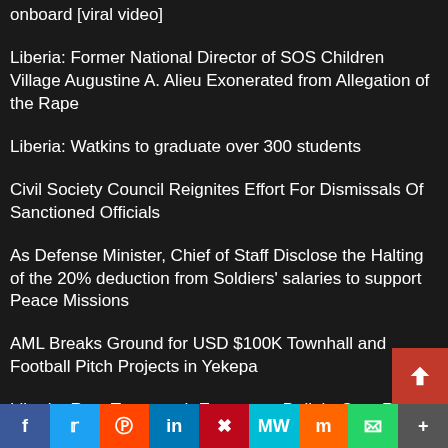onboard [viral video]
Liberia: Former National Director of SOS Children Village Augustine A. Alieu Exonerated from Allegation of the Rape
Liberia: Watkins to graduate over 300 students
Civil Society Council Reignites Effort For Dismissals Of Sanctioned Officials
As Defense Minister, Chief of Staff Disclose the Halting of the 20% deduction from Soldiers' salaries to support Peace Missions
AML Breaks Ground for USD $100K Townhall and Football Pitch Projects in Yekepa
Liberia: Rep. Tarponweh Expresses Delight Over RIA Highway Corridor Electrification Works
Liberia: Rep. Resident Land Swedish S...